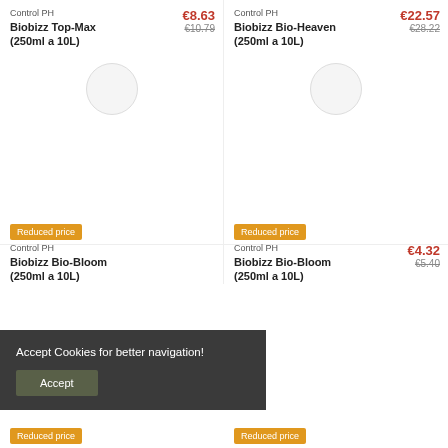Control PH
Biobizz Top-Max (250ml a 10L)
€8.63 €10.79
Reduced price
Control PH
Biobizz Bio-Heaven (250ml a 10L)
€22.57 €28.22
Reduced price
Control PH
Biobizz Bio-Bloom (250ml a 10L)
€4.32 €5.40
Reduced price
Accept Cookies for better navigation!
Accept